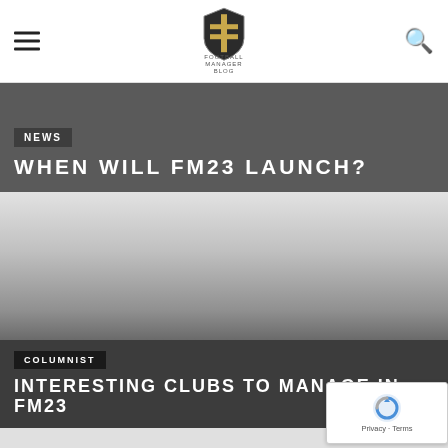Football Manager website header with hamburger menu, logo, and search icon
NEWS
WHEN WILL FM23 LAUNCH?
[Figure (photo): Large gray gradient image area for article about interesting clubs to manage in FM23]
COLUMNIST
INTERESTING CLUBS TO MANAGE IN FM23
[Figure (logo): reCAPTCHA badge with Privacy and Terms links]